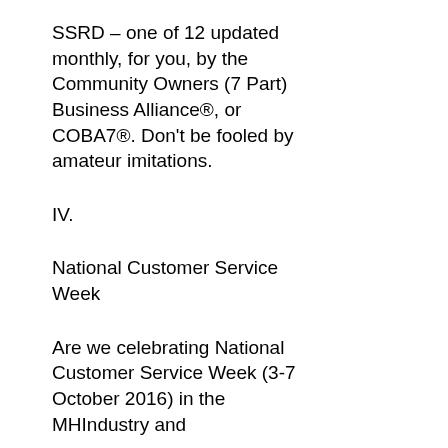SSRD – one of 12 updated monthly, for you, by the Community Owners (7 Part) Business Alliance®, or COBA7®. Don't be fooled by amateur imitations.
IV.
National Customer Service Week
Are we celebrating National Customer Service Week (3-7 October 2016) in the MHIndustry and